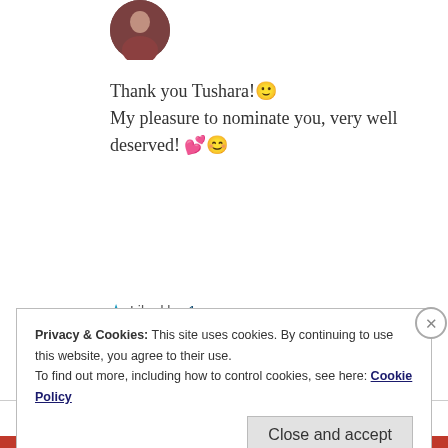[Figure (photo): Circular avatar photo of a person, partially visible at top of page]
Thank you Tushara! 🙂
My pleasure to nominate you, very well deserved! ❤️ 😊
★ Liked by 1 person
REPLY
Privacy & Cookies: This site uses cookies. By continuing to use this website, you agree to their use.
To find out more, including how to control cookies, see here: Cookie Policy
Close and accept